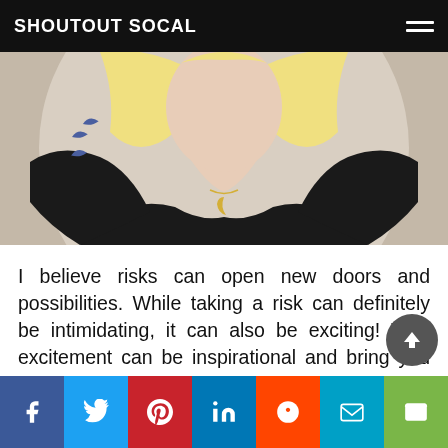SHOUTOUT SOCAL
[Figure (photo): Close-up photo of a woman with blonde hair, black top, and a gold crescent moon necklace. She has a blue bird tattoo visible on her upper arm. The background is a soft circle/bokeh.]
I believe risks can open new doors and possibilities. While taking a risk can definitely be intimidating, it can also be exciting! That excitement can be inspirational and bring you new creativity and passion! Just recently I took a risk and I moved my business closer to my home and family to a new salon home, JDM salon. It was definitely scary to potentially lo...